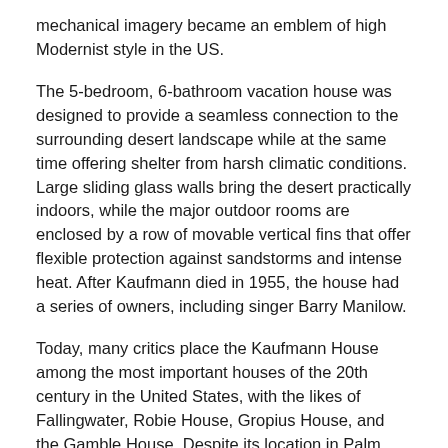mechanical imagery became an emblem of high Modernist style in the US.
The 5-bedroom, 6-bathroom vacation house was designed to provide a seamless connection to the surrounding desert landscape while at the same time offering shelter from harsh climatic conditions. Large sliding glass walls bring the desert practically indoors, while the major outdoor rooms are enclosed by a row of movable vertical fins that offer flexible protection against sandstorms and intense heat. After Kaufmann died in 1955, the house had a series of owners, including singer Barry Manilow.
Today, many critics place the Kaufmann House among the most important houses of the 20th century in the United States, with the likes of Fallingwater, Robie House, Gropius House, and the Gamble House. Despite its location in Palm Springs, it was also included in an expert-reviewed list of all-time top 10 houses in Los Angeles.
Image Courtesy of Flickr and Jon Wolf